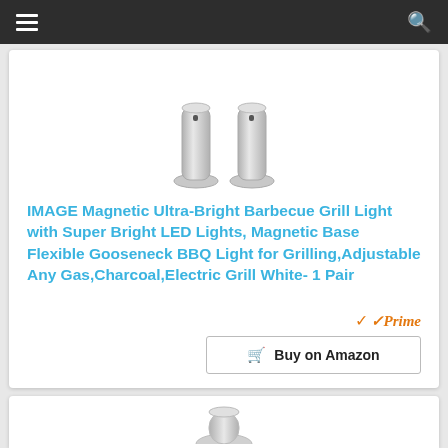Navigation bar with hamburger menu and search icon
[Figure (photo): Two silver metallic grill lights with cylindrical bodies and round bases, shown side by side on white background]
IMAGE Magnetic Ultra-Bright Barbecue Grill Light with Super Bright LED Lights, Magnetic Base Flexible Gooseneck BBQ Light for Grilling,Adjustable Any Gas,Charcoal,Electric Grill White- 1 Pair
Prime
Buy on Amazon
[Figure (photo): Bottom portion of a second product card, partially visible, showing the top of a product image]